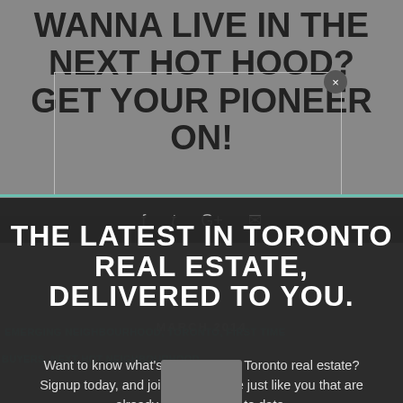WANNA LIVE IN THE NEXT HOT HOOD? GET YOUR PIONEER ON!
[Figure (screenshot): Screenshot of a website popup/modal overlay. Dark background bar with social sharing icons (Facebook, Twitter, Google+, Email). Dark modal with large white bold text reading 'THE LATEST IN TORONTO REAL ESTATE, DELIVERED TO YOU.' Subtext reads 'Want to know what’s happening in Toronto real estate? Signup today, and join 500+ people just like you that are already being kept up to date.' Background shows date 'MARCH 2014' and teal-colored tags including 'EMERGING NEIGHBOURHOOD', 'TORONTO', 'FIRST TIME BUYERS', 'NEXT HOT NEIGHBOURHOOD'. Close button (x) in top-right of modal.]